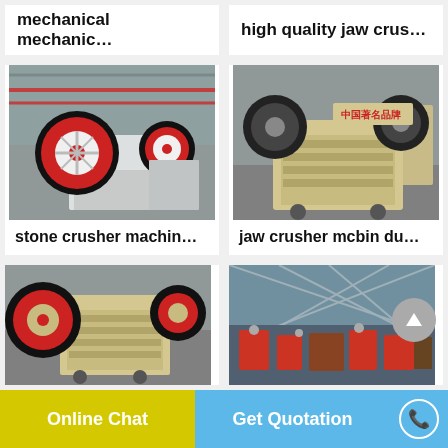mechanical mechanic…
high quality jaw crus…
[Figure (photo): Jaw crusher machine in a factory with large red and black flywheel, white frame, industrial hall background]
stone crusher machin…
[Figure (photo): Jaw crusher machine with cream/beige frame, Chinese text branding on top, two large black flywheels, sitting on warehouse floor]
jaw crusher mcbin du…
[Figure (photo): Jaw crusher machine with large red and black wheels, cream colored frame, bottom view perspective]
[Figure (photo): Industrial factory floor with many machines and equipment, aerial view]
Online Chat
Get Quotation